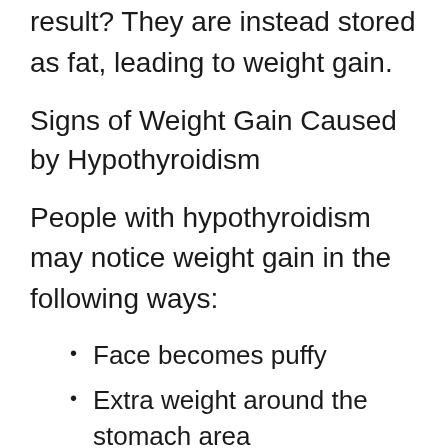result? They are instead stored as fat, leading to weight gain.
Signs of Weight Gain Caused by Hypothyroidism
People with hypothyroidism may notice weight gain in the following ways:
Face becomes puffy
Extra weight around the stomach area
Extra weight around different areas